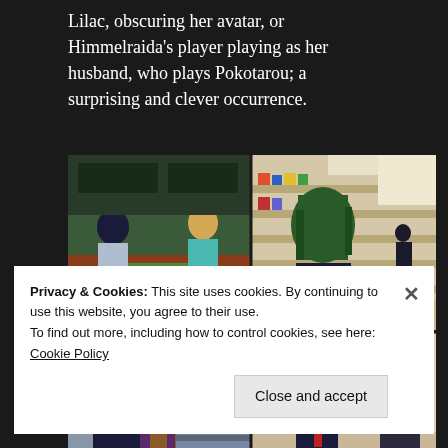Lilac, obscuring her avatar, or Himmelraida's player playing as her husband, who plays Pokotarou; a surprising and clever occurrence.
[Figure (photo): Four-panel anime screenshot grid showing characters in various scenes inside what appears to be a store or convenience store setting. Top-left: two characters talking across a counter. Top-right: character with dark green hair seen from behind, another figure in the distance among store shelves. Bottom-left: dark-haired male character with two female characters near store shelves. Bottom-right: two characters, one holding up a phone and celebrating, another reacting.]
Privacy & Cookies: This site uses cookies. By continuing to use this website, you agree to their use.
To find out more, including how to control cookies, see here: Cookie Policy
Close and accept